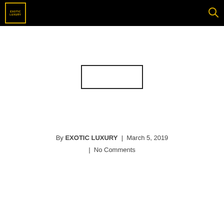EXOTIC LUXURY
[Figure (other): Blank rectangular image placeholder with black border]
By EXOTIC LUXURY | March 5, 2019 | No Comments